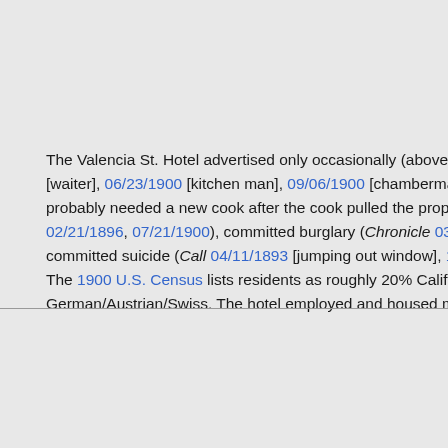The Valencia St. Hotel advertised only occasionally (above: Call 0… [waiter], 06/23/1900 [kitchen man], 09/06/1900 [chambermaid], 09… probably needed a new cook after the cook pulled the proprietor's w… 02/21/1896, 07/21/1900), committed burglary (Chronicle 03/17/18… committed suicide (Call 04/11/1893 [jumping out window], 10/08/… The 1900 U.S. Census lists residents as roughly 20% California-bo… German/Austrian/Swiss. The hotel employed and housed many Ge…